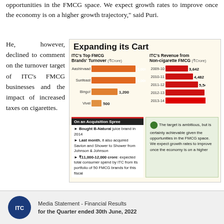opportunities in the FMCG space. We expect growth rates to improve once the economy is on a higher growth trajectory," said Puri.
He, however, declined to comment on the turnover target of ITC's FMCG businesses and the impact of increased taxes on cigarettes.
[Figure (infographic): Two bar charts and an acquisition list. Left: ITC's Top FMCG Brands' Turnover (₹Crore): Aashirvaad 3,000; Sunfeast 3,000; Bingo! 1,200; Vivel 500. Right: ITC's Revenue from Non-cigarette FMCG (₹Crore): 2009-10 3,642; 2010-11 4,482; 2011-12 5,545; 2012-13 7,012; 2013-14 8,122. Acquisition Spree: Bought B-Natural juice brand in 2014; Last month acquired Savlon and Shower to Shower from Johnson & Johnson; ₹11,000-12,000 crore expected total consumer spend by ITC from its portfolio of 50 FMCG brands for this fiscal. Quote: The target is ambitious, but is certainly achievable given the opportunities in the FMCG space. We expect growth rates to improve once the economy is on a higher...]
Media Statement - Financial Results for the Quarter ended 30th June, 2022